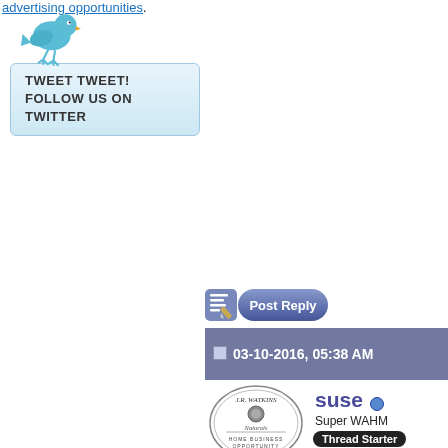advertising opportunities.
[Figure (illustration): Twitter bird icon above a 'Tweet Tweet! Follow Us On Twitter' button with light blue gradient background and border]
[Figure (illustration): Post Reply button with pencil/notepad icon and dark blue gradient pill shape]
03-10-2016, 05:38 AM
[Figure (logo): J.R. Watkins Naturals Home Business Opportunity circular logo]
suse
Super WAHM
Thread Starter
Free product when you join in March? Yo
Now this is something cool... Everyone w whatever products you like!